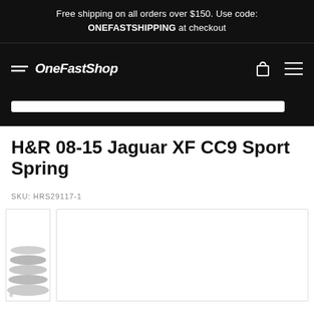Free shipping on all orders over $150. Use code: ONEFASTSHIPPING at checkout
[Figure (logo): OneFastShop logo with speed lines and italic text]
H&R 08-15 Jaguar XF CC9 Sport Spring
SKU: HRS29117-1
[Figure (photo): Product image area showing H&R sport spring, partially visible on left with main white image box]